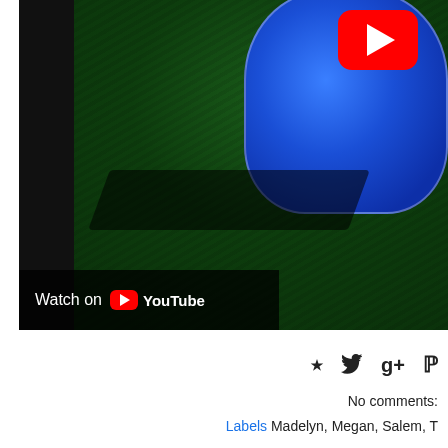[Figure (screenshot): YouTube embedded video player showing a soccer/football scene on dark grass with a blue object and YouTube play button in top-right corner. A 'Watch on YouTube' overlay bar is visible at the bottom-left of the video.]
[Figure (infographic): Social sharing icons: Facebook (f), Twitter (bird), Google+ (g+), Pinterest (P)]
No comments:
Labels Madelyn, Megan, Salem, T